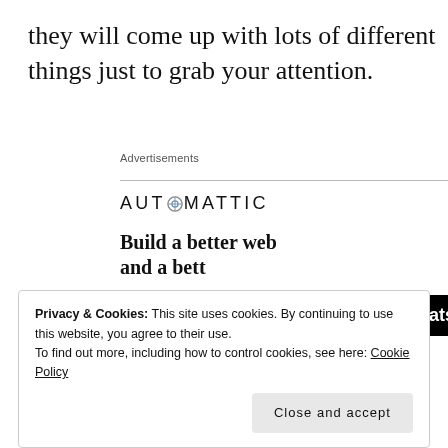they will come up with lots of different things just to grab your attention.
Advertisements
[Figure (logo): Automattic logo with stylized compass/target icon replacing the letter O]
[Figure (infographic): Automattic ad: 'Build a better web and a bett...' with Apply button and person photo. A black overlay bar reads 'Click to Consult on Whatsapp']
Privacy & Cookies: This site uses cookies. By continuing to use this website, you agree to their use.
To find out more, including how to control cookies, see here: Cookie Policy
Close and accept